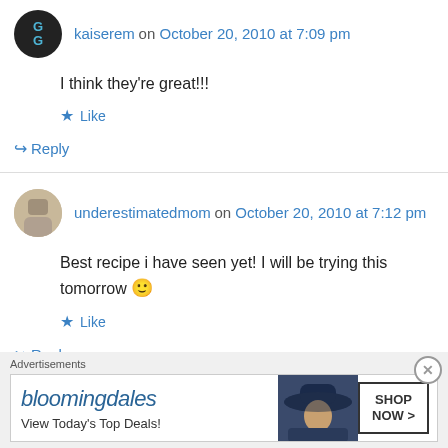kaiserem on October 20, 2010 at 7:09 pm
I think they're great!!!
★ Like
↳ Reply
underestimatedmom on October 20, 2010 at 7:12 pm
Best recipe i have seen yet! I will be trying this tomorrow 🙂
★ Like
↳ Reply
Advertisements
[Figure (other): Bloomingdale's advertisement banner with text 'bloomingdales', 'View Today's Top Deals!' and 'SHOP NOW >' button, with image of woman in wide-brimmed hat]